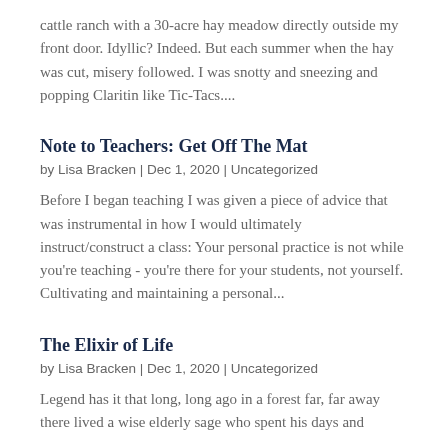cattle ranch with a 30-acre hay meadow directly outside my front door. Idyllic? Indeed. But each summer when the hay was cut, misery followed. I was snotty and sneezing and popping Claritin like Tic-Tacs....
Note to Teachers: Get Off The Mat
by Lisa Bracken | Dec 1, 2020 | Uncategorized
Before I began teaching I was given a piece of advice that was instrumental in how I would ultimately instruct/construct a class: Your personal practice is not while you're teaching - you're there for your students, not yourself. Cultivating and maintaining a personal...
The Elixir of Life
by Lisa Bracken | Dec 1, 2020 | Uncategorized
Legend has it that long, long ago in a forest far, far away there lived a wise elderly sage who spent his days and